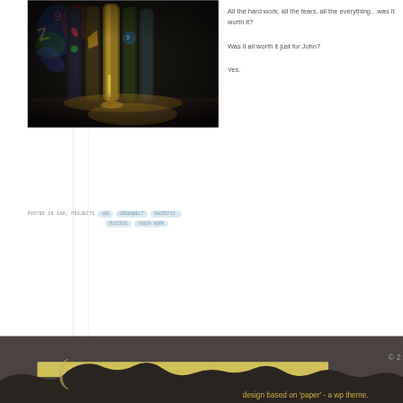[Figure (photo): Skateboards standing upright leaning against a wall with graffiti, dark moody lighting]
All the hard work, all the tears, all the everything…was it worth it?
Was it all worth it just for John?
Yes.
POSTED IN 180, PROJECTS · 180 · GREENBELT · SACRIFICE · SUCCESS · YOUTH WORK
design based on 'paper' - a wp theme.